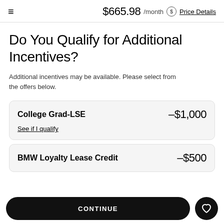≡   $665.98 /month  $ Price Details
Do You Qualify for Additional Incentives?
Additional incentives may be available. Please select from the offers below.
| Offer | Amount |
| --- | --- |
| College Grad-LSE | –$1,000 |
| BMW Loyalty Lease Credit | –$500 |
CONTINUE